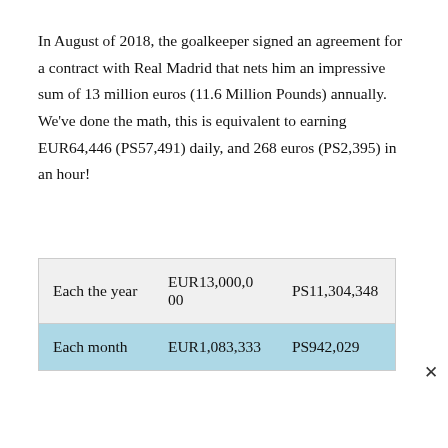In August of 2018, the goalkeeper signed an agreement for a contract with Real Madrid that nets him an impressive sum of 13 million euros (11.6 Million Pounds) annually. We've done the math, this is equivalent to earning EUR64,446 (PS57,491) daily, and 268 euros (PS2,395) in an hour!
| Each the year | EUR13,000,000 | PS11,304,348 |
| Each month | EUR1,083,333 | PS942,029 |